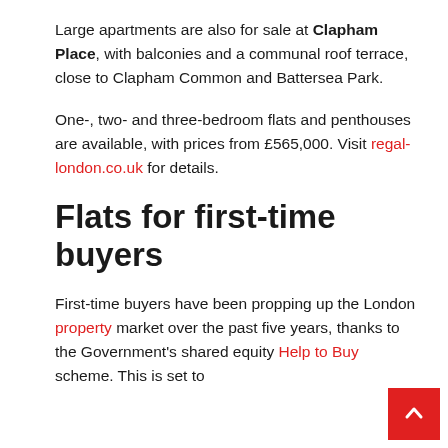Large apartments are also for sale at Clapham Place, with balconies and a communal roof terrace, close to Clapham Common and Battersea Park.
One-, two- and three-bedroom flats and penthouses are available, with prices from £565,000. Visit regal-london.co.uk for details.
Flats for first-time buyers
First-time buyers have been propping up the London property market over the past five years, thanks to the Government's shared equity Help to Buy scheme. This is set to